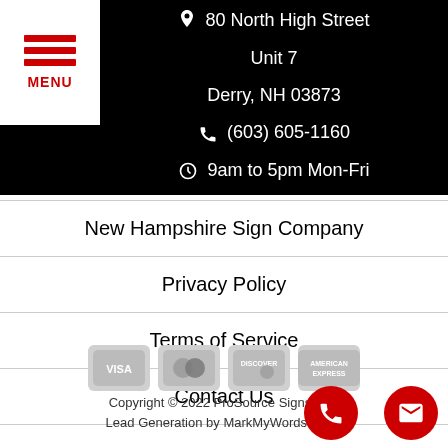[Figure (logo): White box with red hamburger menu lines and red MENU text]
80 North High Street
Unit 7
Derry, NH 03873
(603) 605-1160
9am to 5pm Mon-Fri
New Hampshire Sign Company
Privacy Policy
Terms of Service
Contact Us
[Figure (other): Gray payment card icons: Visa, Mastercard, Discover, American Express]
Copyright © 2022 ProSource Signs, Inc.
Lead Generation by MarkMyWordsMedia